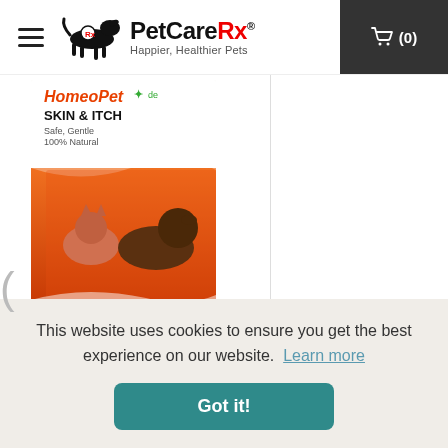[Figure (logo): PetCareRx logo with running dog silhouette and text 'PetCareRx Happier, Healthier Pets']
[Figure (photo): HomeoPet Skin & Itch product box showing dogs and cats, orange/red design with text 'SKIN & ITCH Safe, Gentle 100% Natural']
HomeoPet Skin & Itch Drops - HomeoPet Skin & Itch Drops, 15mL
This website uses cookies to ensure you get the best experience on our website. Learn more
Got it!